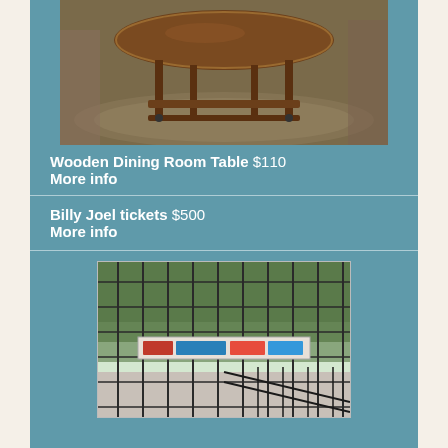[Figure (photo): Photo of a wooden dining room table with oval top and lower shelf, on casters, sitting on a patterned rug]
Wooden Dining Room Table $110
More info
Billy Joel tickets $500
More info
[Figure (photo): Photo of a metal wire dog crate/cage with a banner sign inside, outdoors with trees visible in background]